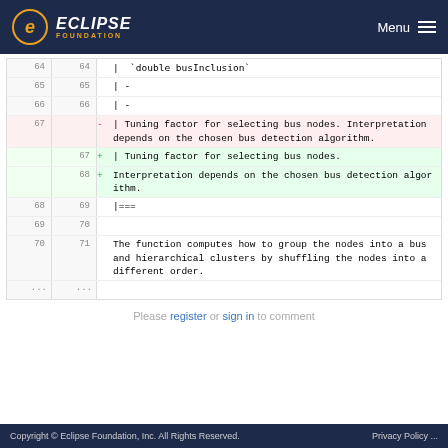Eclipse Foundation — Menu
[Figure (screenshot): Code diff view showing changes to documentation lines 64-71. Lines 64-66 unchanged with '| `double busInclusion`' and '| -'. Line 67 removed (red): '- | Tuning factor for selecting bus nodes. Interpretation depends on the chosen bus detection algorithm.' Lines 67-68 added (green): '+ | Tuning factor for selecting bus nodes.' and '+ Interpretation depends on the chosen bus detection algorithm.' Lines 68-71 unchanged with '|===' and 'The function computes how to group the nodes into a bus and hierarchical clusters by shuffling the nodes into a different order.']
Please register or sign in to comment
Copyright © Eclipse Foundation, Inc. All Rights Reserved.    Privacy Policy ...